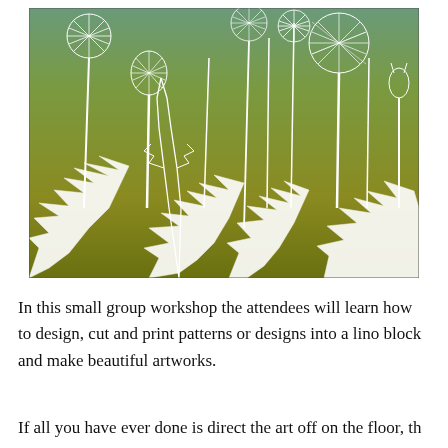[Figure (illustration): A linocut-style artwork showing dandelion plants with seed heads (puffballs) on long stems and large jagged leaves, rendered in white on an olive-green/golden-yellow gradient background. The style is a printmaking/linocut illustration.]
In this small group workshop the attendees will learn how to design, cut and print patterns or designs into a lino block and make beautiful artworks.
If all you have ever done is direct the art off on the floor, th...